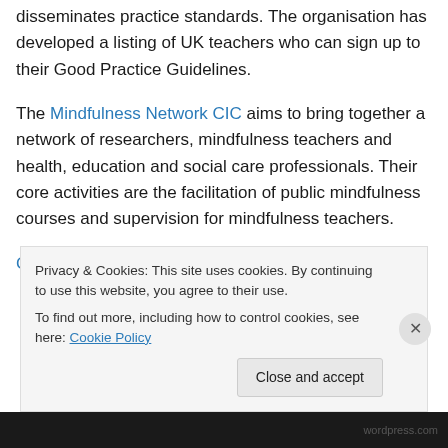disseminates practice standards. The organisation has developed a listing of UK teachers who can sign up to their Good Practice Guidelines.
The Mindfulness Network CIC aims to bring together a network of researchers, mindfulness teachers and health, education and social care professionals. Their core activities are the facilitation of public mindfulness courses and supervision for mindfulness teachers.
Core Mindfulness CIC is an organisation dedicated to...
Privacy & Cookies: This site uses cookies. By continuing to use this website, you agree to their use.
To find out more, including how to control cookies, see here: Cookie Policy

Close and accept